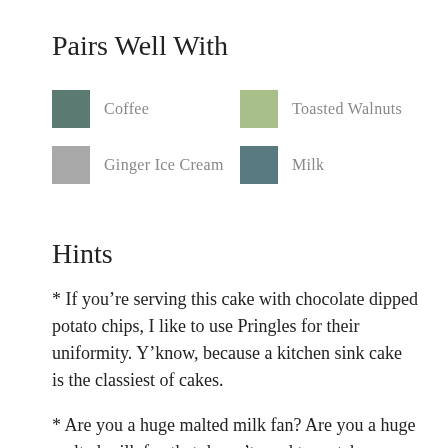Pairs Well With
Coffee
Toasted Walnuts
Ginger Ice Cream
Milk
Hints
* If you're serving this cake with chocolate dipped potato chips, I like to use Pringles for their uniformity. Y'know, because a kitchen sink cake is the classiest of cakes.
* Are you a huge malted milk fan? Are you a huge malted milk fan that doesn't need to watch your sugar intake? Serve this chocolate malt cake with a malted milkshake for a very sweet treat.